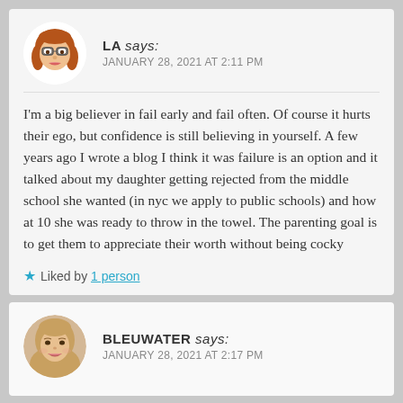LA says:
JANUARY 28, 2021 AT 2:11 PM
I'm a big believer in fail early and fail often. Of course it hurts their ego, but confidence is still believing in yourself. A few years ago I wrote a blog I think it was failure is an option and it talked about my daughter getting rejected from the middle school she wanted (in nyc we apply to public schools) and how at 10 she was ready to throw in the towel. The parenting goal is to get them to appreciate their worth without being cocky
Liked by 1 person
BLEUWATER says:
JANUARY 28, 2021 AT 2:17 PM